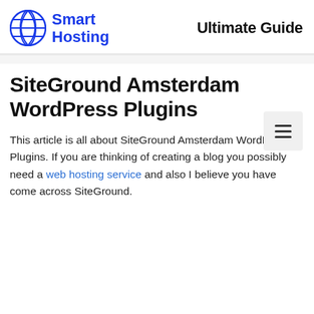Smart Hosting | Ultimate Guide
SiteGround Amsterdam WordPress Plugins
This article is all about SiteGround Amsterdam WordPress Plugins. If you are thinking of creating a blog you possibly need a web hosting service and also I believe you have come across SiteGround.